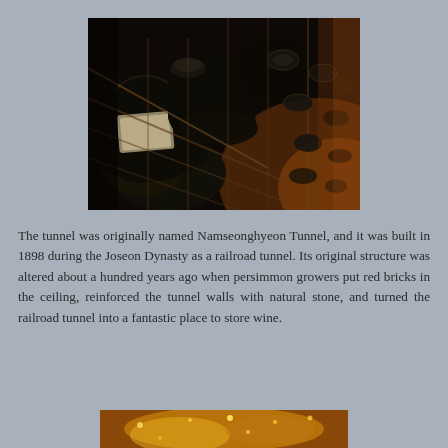[Figure (photo): Wine bottles stored horizontally in a wine rack, dark atmospheric photo showing multiple bottles in a cellar storage system with diamond-pattern rack structure]
The tunnel was originally named Namseonghyeon Tunnel, and it was built in 1898 during the Joseon Dynasty as a railroad tunnel. Its original structure was altered about a hundred years ago when persimmon growers put red bricks in the ceiling, reinforced the tunnel walls with natural stone, and turned the railroad tunnel into a fantastic place to store wine.
[Figure (photo): Partial view of a warmly lit photo at bottom of page, appears to show decorative or festive lighting]